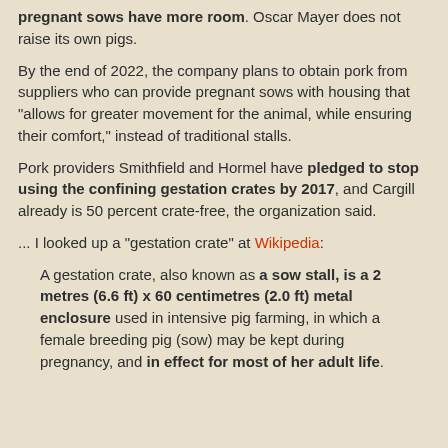pregnant sows have more room. Oscar Mayer does not raise its own pigs.
By the end of 2022, the company plans to obtain pork from suppliers who can provide pregnant sows with housing that "allows for greater movement for the animal, while ensuring their comfort," instead of traditional stalls.
Pork providers Smithfield and Hormel have pledged to stop using the confining gestation crates by 2017, and Cargill already is 50 percent crate-free, the organization said.
... I looked up a "gestation crate" at Wikipedia:
A gestation crate, also known as a sow stall, is a 2 metres (6.6 ft) x 60 centimetres (2.0 ft) metal enclosure used in intensive pig farming, in which a female breeding pig (sow) may be kept during pregnancy, and in effect for most of her adult life.